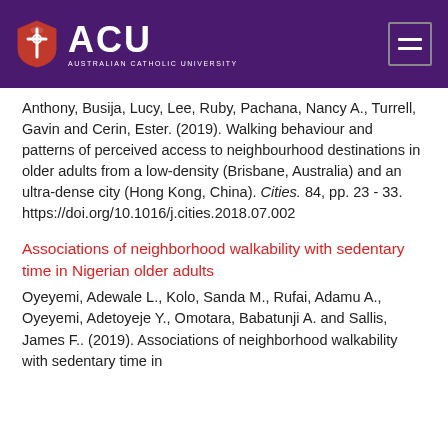ACU Australian Catholic University
Anthony, Busija, Lucy, Lee, Ruby, Pachana, Nancy A., Turrell, Gavin and Cerin, Ester. (2019). Walking behaviour and patterns of perceived access to neighbourhood destinations in older adults from a low-density (Brisbane, Australia) and an ultra-dense city (Hong Kong, China). Cities. 84, pp. 23 - 33. https://doi.org/10.1016/j.cities.2018.07.002
Associations of neighborhood walkability with sedentary time in Nigerian older adults
Oyeyemi, Adewale L., Kolo, Sanda M., Rufai, Adamu A., Oyeyemi, Adetoyeje Y., Omotara, Babatunji A. and Sallis, James F.. (2019). Associations of neighborhood walkability with sedentary time in